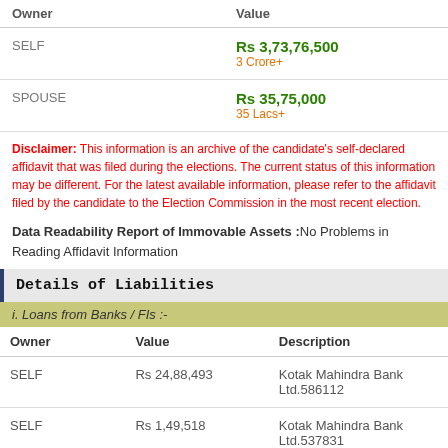| Owner | Value |
| --- | --- |
| SELF | Rs 3,73,76,500
3 Crore+ |
| SPOUSE | Rs 35,75,000
35 Lacs+ |
Disclaimer: This information is an archive of the candidate's self-declared affidavit that was filed during the elections. The current status of this information may be different. For the latest available information, please refer to the affidavit filed by the candidate to the Election Commission in the most recent election.
Data Readability Report of Immovable Assets :No Problems in Reading Affidavit Information
Details of Liabilities
i. Loans from Banks / FIs :-
| Owner | Value | Description |
| --- | --- | --- |
| SELF | Rs 24,88,493 | Kotak Mahindra Bank Ltd.586112 |
| SELF | Rs 1,49,518 | Kotak Mahindra Bank Ltd.537831 |
|  |  | Kotak Mahindra Bank |